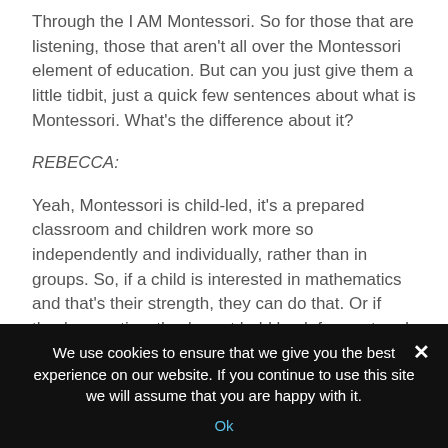Through the I AM Montessori. So for those that are listening, those that aren't all over the Montessori element of education. But can you just give them a little tidbit, just a quick few sentences about what is Montessori. What's the difference about it?
REBECCA:
Yeah, Montessori is child-led, it's a prepared classroom and children work more so independently and individually, rather than in groups. So, if a child is interested in mathematics and that's their strength, they can do that. Or if they're creative, they're not held back from art and have to wait until two o'clock on a Thursday to be able to do what they're good at.
We use cookies to ensure that we give you the best experience on our website. If you continue to use this site we will assume that you are happy with it.
Ok